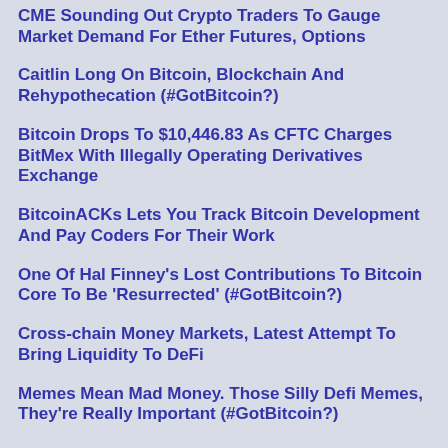CME Sounding Out Crypto Traders To Gauge Market Demand For Ether Futures, Options
Caitlin Long On Bitcoin, Blockchain And Rehypothecation (#GotBitcoin?)
Bitcoin Drops To $10,446.83 As CFTC Charges BitMex With Illegally Operating Derivatives Exchange
BitcoinACKs Lets You Track Bitcoin Development And Pay Coders For Their Work
One Of Hal Finney's Lost Contributions To Bitcoin Core To Be 'Resurrected' (#GotBitcoin?)
Cross-chain Money Markets, Latest Attempt To Bring Liquidity To DeFi
Memes Mean Mad Money. Those Silly Defi Memes, They're Really Important (#GotBitcoin?)